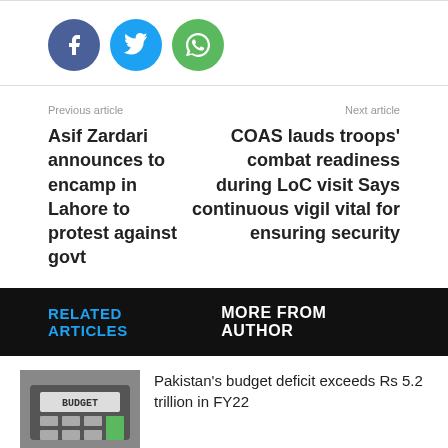[Figure (infographic): Social sharing buttons: Facebook (blue circle with f icon), Twitter (cyan circle with bird icon), WhatsApp (green circle with phone icon)]
Previous article
Next article
Asif Zardari announces to encamp in Lahore to protest against govt
COAS lauds troops' combat readiness during LoC visit Says continuous vigil vital for ensuring security
RELATED ARTICLES   MORE FROM AUTHOR
Pakistan's budget deficit exceeds Rs 5.2 trillion in FY22
[Figure (photo): Calculator displaying the word BUDGET on its screen, with hands visible in background]